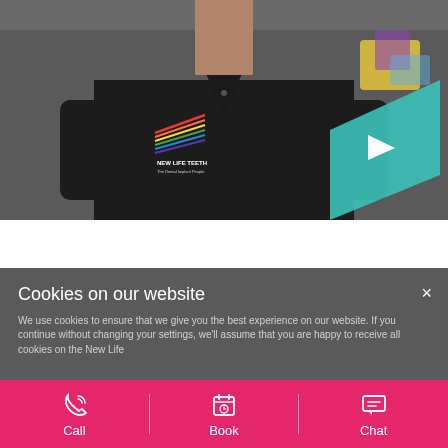[Figure (photo): A person wearing dark scrubs with a 'New Life Teeth – The Dental Implant People' logo on the chest, shown from the chest down, in a dental clinic setting. A teal/turquoise play button polygon is overlaid on the image, indicating a video.]
Cookies on our website
We use cookies to ensure that we give you the best experience on our website. If you continue without changing your settings, we'll assume that you are happy to receive all cookies on the New Life
Call
Book
Chat